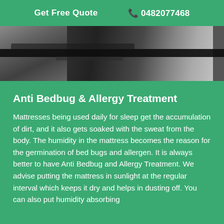Get Free Quote  📞 0482077468
[Figure (photo): Close-up photo of a mattress or fabric surface showing dark textured material with woven/knitted pattern against a lighter mottled background]
Anti Bedbug & Allergy Treatment
Mattresses being used daily for sleep get the accumulation of dirt, and it also gets soaked with the sweat from the body. The humidity in the mattress becomes the reason for the germination of bed bugs and allergen. It is always better to have Anti Bedbug and Allergy Treatment. We advise putting the mattress in sunlight at the regular interval which keeps it dry and helps in dusting off. You can also put humidity absorbing